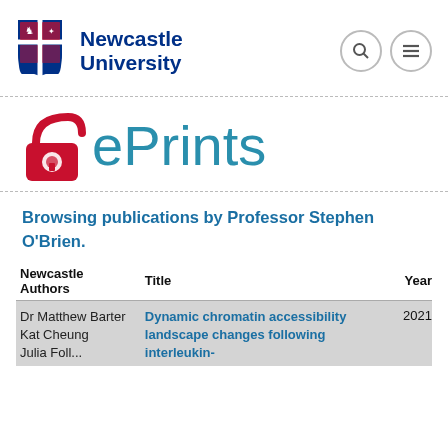[Figure (logo): Newcastle University logo with crest and text]
[Figure (logo): ePrints logo with open access red lock icon and teal ePrints text]
Browsing publications by Professor Stephen O'Brien.
| Newcastle Authors | Title | Year |
| --- | --- | --- |
| Dr Matthew Barter
Kat Cheung
Julia Foll... | Dynamic chromatin accessibility landscape changes following interleukin- | 2021 |